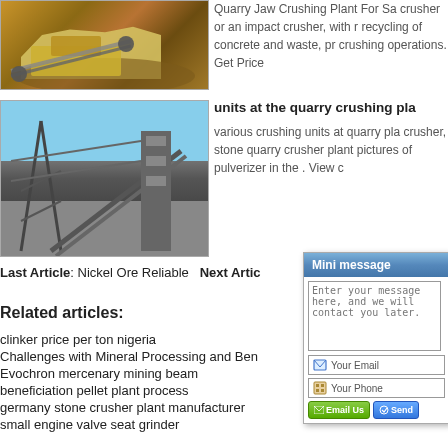[Figure (photo): Quarry jaw crushing plant machinery on rocky terrain with yellow equipment]
Quarry Jaw Crushing Plant For Sale crusher or an impact crusher, with recycling of concrete and waste, pr crushing operations. Get Price
[Figure (photo): Large industrial quarry crushing plant with conveyor belts and steel structures against blue sky]
units at the quarry crushing pla
various crushing units at quarry pla crusher, stone quarry crusher plant pictures of pulverizer in the . View c
Last Article: Nickel Ore Reliable   Next Artic
Related articles:
clinker price per ton nigeria
Challenges with Mineral Processing and Ben
Evochron mercenary mining beam
beneficiation pellet plant process
germany stone crusher plant manufacturer
small engine valve seat grinder